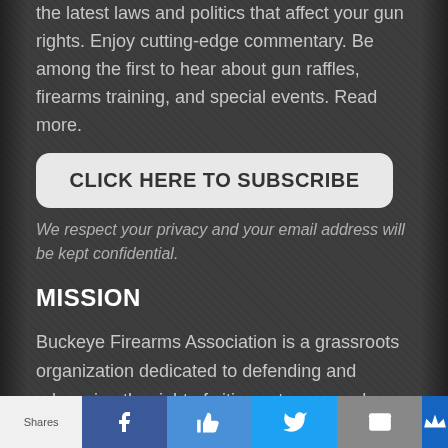the latest laws and politics that affect your gun rights. Enjoy cutting-edge commentary. Be among the first to hear about gun raffles, firearms training, and special events. Read more.
CLICK HERE TO SUBSCRIBE
We respect your privacy and your email address will be kept confidential.
MISSION
Buckeye Firearms Association is a grassroots organization dedicated to defending and advancing the right of citizens to own and use firearms for all
Shares | Facebook | Like | Twitter | Email | Crown